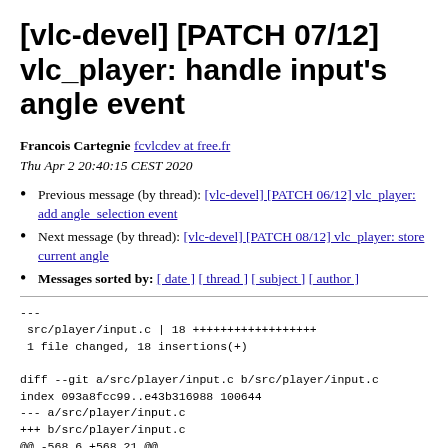[vlc-devel] [PATCH 07/12] vlc_player: handle input's angle event
Francois Cartegnie fcvlcdev at free.fr
Thu Apr 2 20:40:15 CEST 2020
Previous message (by thread): [vlc-devel] [PATCH 06/12] vlc_player: add angle_selection event
Next message (by thread): [vlc-devel] [PATCH 08/12] vlc_player: store current angle
Messages sorted by: [ date ] [ thread ] [ subject ] [ author ]
---
 src/player/input.c | 18 ++++++++++++++++++
 1 file changed, 18 insertions(+)

diff --git a/src/player/input.c b/src/player/input.c
index 093a8fcc99..e43b316988 100644
--- a/src/player/input.c
+++ b/src/player/input.c
@@ -568,6 +568,21 @@